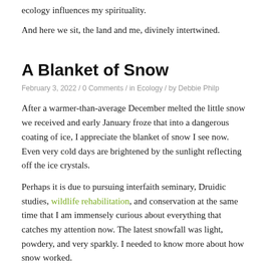ecology influences my spirituality.
And here we sit, the land and me, divinely intertwined.
A Blanket of Snow
February 3, 2022 / 0 Comments / in Ecology / by Debbie Philp
After a warmer-than-average December melted the little snow we received and early January froze that into a dangerous coating of ice, I appreciate the blanket of snow I see now. Even very cold days are brightened by the sunlight reflecting off the ice crystals.
Perhaps it is due to pursuing interfaith seminary, Druidic studies, wildlife rehabilitation, and conservation at the same time that I am immensely curious about everything that catches my attention now. The latest snowfall was light, powdery, and very sparkly. I needed to know more about how snow worked.